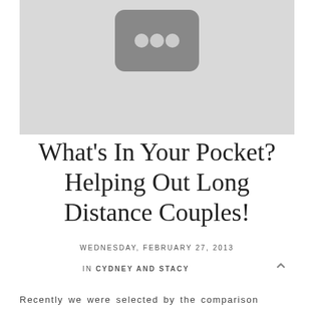[Figure (screenshot): YouTube video placeholder thumbnail with a dark rounded rectangle icon containing three white circles, on a light gray background]
What's In Your Pocket? Helping Out Long Distance Couples!
WEDNESDAY, FEBRUARY 27, 2013
in CYDNEY AND STACY
Recently we were selected by the comparison